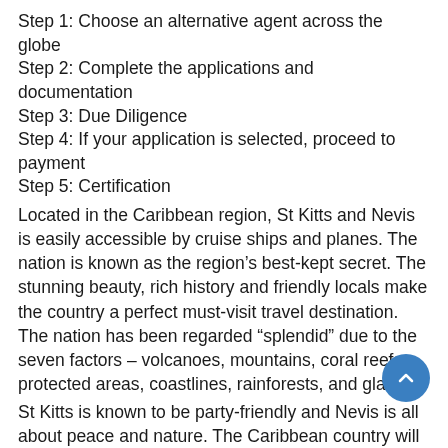Step 1: Choose an alternative agent across the globe
Step 2: Complete the applications and documentation
Step 3: Due Diligence
Step 4: If your application is selected, proceed to payment
Step 5: Certification
Located in the Caribbean region, St Kitts and Nevis is easily accessible by cruise ships and planes. The nation is known as the region’s best-kept secret. The stunning beauty, rich history and friendly locals make the country a perfect must-visit travel destination. The nation has been regarded “splendid” due to the seven factors – volcanoes, mountains, coral reefs, protected areas, coastlines, rainforests, and glaciers.
St Kitts is known to be party-friendly and Nevis is all about peace and nature. The Caribbean country will attract the tourists with fascinating activities, including